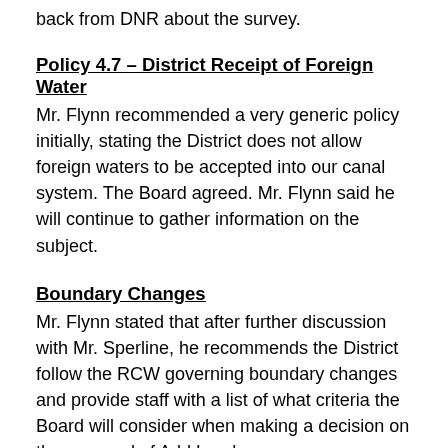back from DNR about the survey.
Policy 4.7 – District Receipt of Foreign Water
Mr. Flynn recommended a very generic policy initially, stating the District does not allow foreign waters to be accepted into our canal system. The Board agreed. Mr. Flynn said he will continue to gather information on the subject.
Boundary Changes
Mr. Flynn stated that after further discussion with Mr. Sperline, he recommends the District follow the RCW governing boundary changes and provide staff with a list of what criteria the Board will consider when making a decision on the approval of Add Lands...